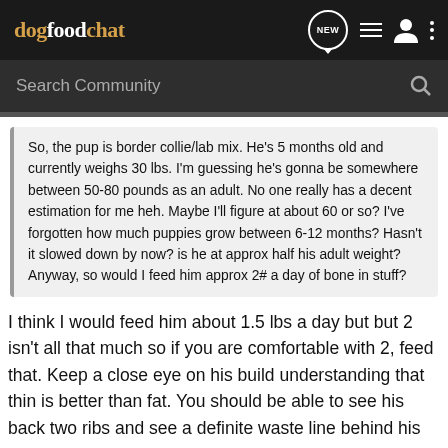dogfoodchat
Search Community
So, the pup is border collie/lab mix. He's 5 months old and currently weighs 30 lbs. I'm guessing he's gonna be somewhere between 50-80 pounds as an adult. No one really has a decent estimation for me heh. Maybe I'll figure at about 60 or so? I've forgotten how much puppies grow between 6-12 months? Hasn't it slowed down by now? is he at approx half his adult weight? Anyway, so would I feed him approx 2# a day of bone in stuff?
I think I would feed him about 1.5 lbs a day but but 2 isn't all that much so if you are comfortable with 2, feed that. Keep a close eye on his build understanding that thin is better than fat. You should be able to see his back two ribs and see a definite waste line behind his ribcage when viewed from above. You should not be able to see his hip bone or spine. Use those guidelines and adjust the volume of food to keep him in those